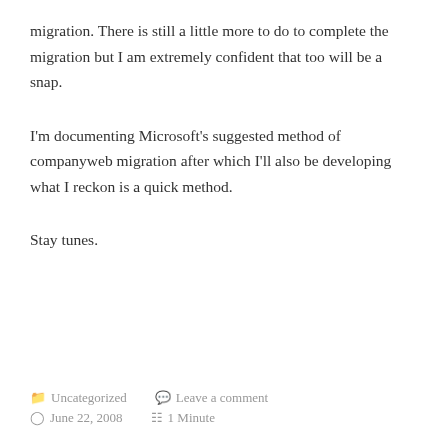migration. There is still a little more to do to complete the migration but I am extremely confident that too will be a snap.
I'm documenting Microsoft's suggested method of companyweb migration after which I'll also be developing what I reckon is a quick method.
Stay tunes.
Uncategorized   Leave a comment   June 22, 2008   1 Minute